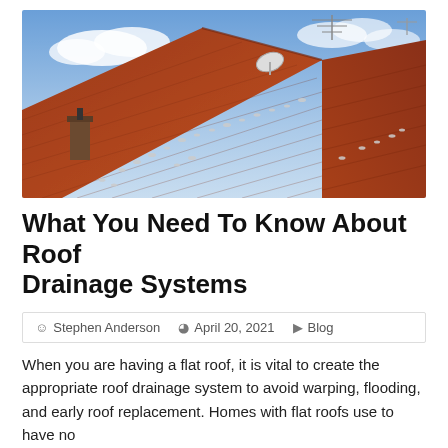[Figure (photo): A terracotta tiled roof with birds perched on it, a chimney on the left, a satellite dish in the center background, a TV antenna at the top, and a partly cloudy blue sky.]
What You Need To Know About Roof Drainage Systems
Stephen Anderson  April 20, 2021  Blog
When you are having a flat roof, it is vital to create the appropriate roof drainage system to avoid warping, flooding, and early roof replacement. Homes with flat roofs use to have no